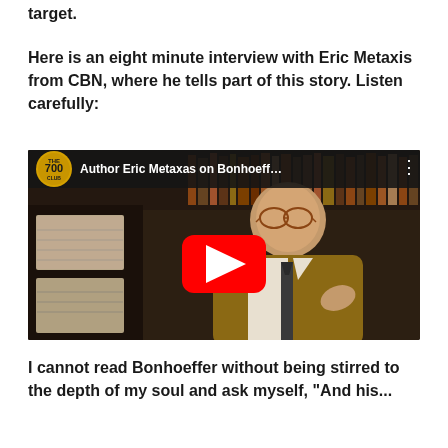target.
Here is an eight minute interview with Eric Metaxis from CBN, where he tells part of this story. Listen carefully:
[Figure (screenshot): YouTube video thumbnail showing 'Author Eric Metaxas on Bonhoeff...' from The 700 Club, featuring a man in glasses and a tweed jacket sitting in front of bookshelves, with a red YouTube play button overlay.]
I cannot read Bonhoeffer without being stirred to the depth of my soul and ask myself, "And his...